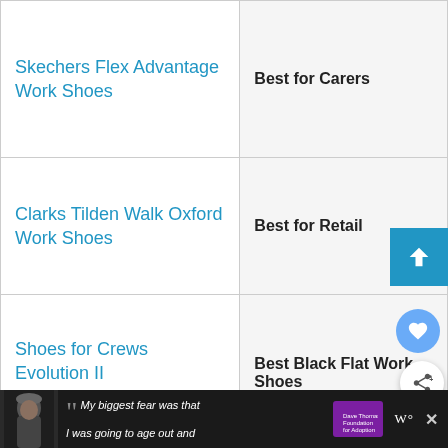| Product | Category |
| --- | --- |
| Skechers Flex Advantage Work Shoes | Best for Carers |
| Clarks Tilden Walk Oxford Work Shoes | Best for Retail |
| Shoes for Crews Evolution II Work Sneaker | Best Black Flat Work Shoes |
| Skechers Soft Stride-Softie Lace-up Shoes | Best Black Casual Work Shoes |
[Figure (screenshot): Advertisement banner at bottom: dark background with a man in a beanie hat, quotation text 'My biggest fear was that I was going to age out and', Dave Thomas Foundation for Adoption logo, and W degree symbol logo. Close button visible.]